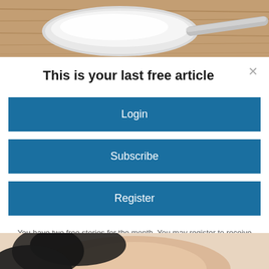[Figure (photo): Top portion of a photo showing a measuring spoon with white powder/sugar on a wooden surface background]
This is your last free article
Login
Subscribe
Register
You have two free stories for the month. You may register to receive five additional stories this month and seven stories each month going forward. By registering you'll be opting in to receive our email newsletter and occasional promotions. You may opt out at any time.
[Figure (photo): Bottom portion of a photo showing a woman's face/hair]